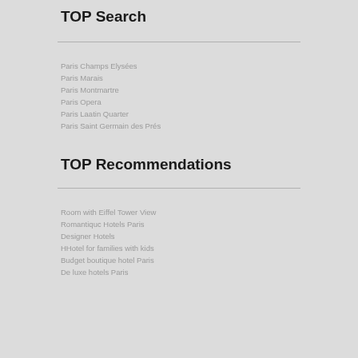TOP Search
Paris Champs Elysées
Paris Marais
Paris Montmartre
Paris Opera
Paris Laatin Quarter
Paris Saint Germain des Prés
TOP Recommendations
Room with Eiffel Tower View
Romantiquc Hotels  Paris
Designer Hotels
HHotel for families with kids
Budget boutique hotel Paris
De luxe hotels Paris